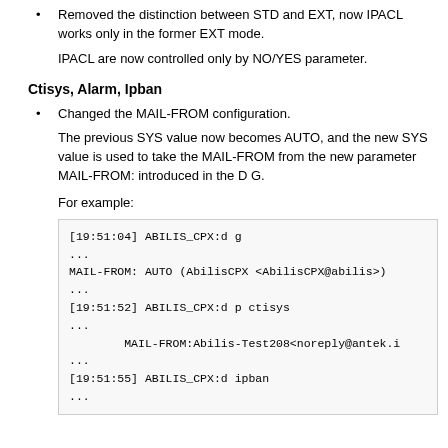Removed the distinction between STD and EXT, now IPACL works only in the former EXT mode.
IPACL are now controlled only by NO/YES parameter.
Ctisys, Alarm, Ipban
Changed the MAIL-FROM configuration.
The previous SYS value now becomes AUTO, and the new SYS value is used to take the MAIL-FROM from the new parameter MAIL-FROM: introduced in the D G.
For example:
[19:51:04] ABILIS_CPX:d g
...
MAIL-FROM: AUTO (AbilisCPX <AbilisCPX@abilis>)
...
[19:51:52] ABILIS_CPX:d p ctisys
...
        MAIL-FROM:Abilis-Test208<noreply@antek.i
...
[19:51:55] ABILIS_CPX:d ipban
...